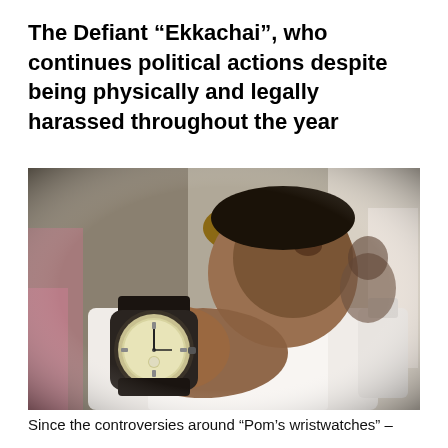The Defiant “Ekkachai”, who continues political actions despite being physically and legally harassed throughout the year
[Figure (photo): A man in a white shirt holds up a large wristwatch (a Rolex-style watch) toward the camera, with a blurred woman wearing a hat visible in the background. The man’s face is partially out of focus as he extends the watch forward.]
Since the controversies around “Pom’s wristwatches” –